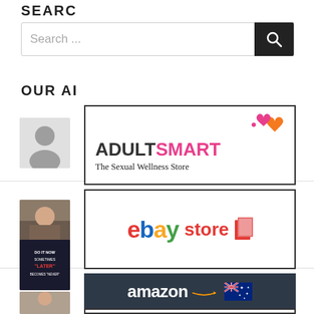SEARC
Search ...
OUR AI
[Figure (logo): AdultSmart - The Sexual Wellness Store logo with pink hearts]
[Figure (logo): eBay store logo with colorful letters]
[Figure (logo): Amazon Australia logo with white text on dark background and Australian flag]
[Figure (photo): Grey silhouette avatar placeholder]
[Figure (photo): Man in suit photo thumbnail]
[Figure (screenshot): Do it now sometimes later becomes never motivational quote image]
[Figure (photo): Man photo thumbnail at bottom]